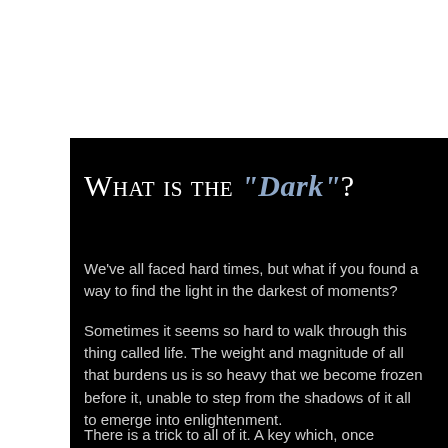What is the "Dark"?
We've all faced hard times, but what if you found a way to find the light in the darkest of moments?
Sometimes it seems so hard to walk through this thing called life. The weight and magnitude of all that burdens us is so heavy that we become frozen before it, unable to step from the shadows of it all to emerge into enlightenment.
There is a trick to all of it. A key which, once